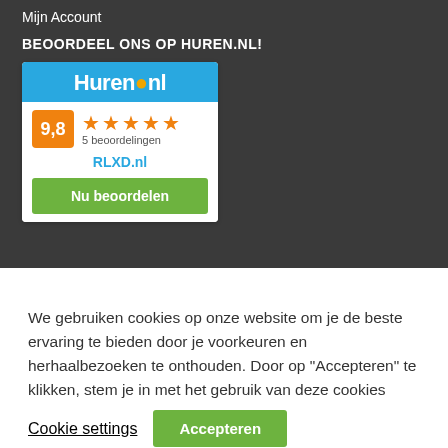Mijn Account
BEOORDEEL ONS OP HUREN.NL!
[Figure (other): Huren.nl rating widget showing score 9.8 with 5 stars and 5 beoordelingen for RLXD.nl, with a 'Nu beoordelen' green button]
We gebruiken cookies op onze website om je de beste ervaring te bieden door je voorkeuren en herhaalbezoeken te onthouden. Door op "Accepteren" te klikken, stem je in met het gebruik van deze cookies
Cookie settings
Accepteren